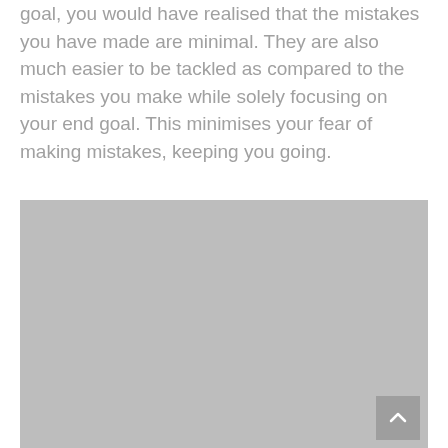goal, you would have realised that the mistakes you have made are minimal. They are also much easier to be tackled as compared to the mistakes you make while solely focusing on your end goal. This minimises your fear of making mistakes, keeping you going.
[Figure (photo): A large gray placeholder image block occupying the lower portion of the page, with a scroll-to-top button in the bottom-right corner.]